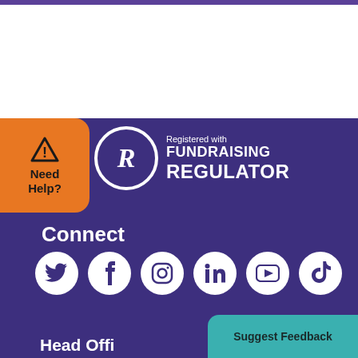[Figure (logo): Purple top bar and white section at top of page]
[Figure (logo): Orange 'Need Help?' badge with warning triangle icon on left side]
[Figure (logo): Fundraising Regulator registered logo with circular R emblem and text 'Registered with FUNDRAISING REGULATOR' on purple background]
Connect
[Figure (infographic): Row of 6 social media icons: Twitter, Facebook, Instagram, LinkedIn, YouTube, TikTok — white circles on purple background]
[Figure (other): Teal 'Suggest Feedback' button in bottom right corner]
Head Offi...